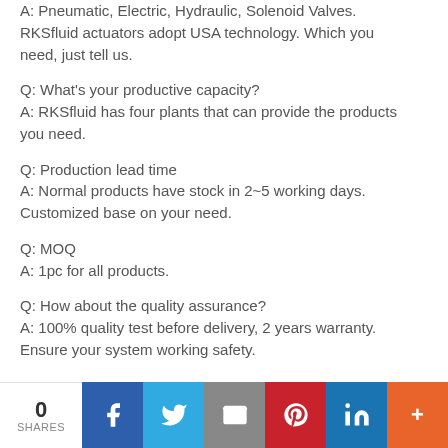A: Pneumatic, Electric, Hydraulic, Solenoid Valves. RKSfluid actuators adopt USA technology. Which you need, just tell us.
Q: What's your productive capacity?
A: RKSfluid has four plants that can provide the products you need.
Q: Production lead time
A: Normal products have stock in 2~5 working days. Customized base on your need.
Q: MOQ
A: 1pc for all products.
Q: How about the quality assurance?
A: 100% quality test before delivery, 2 years warranty. Ensure your system working safety.
0 SHARES | Facebook | Twitter | Email | Pinterest | LinkedIn | More